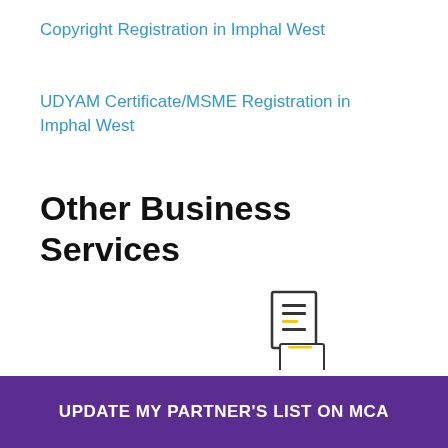Copyright Registration in Imphal West
UDYAM Certificate/MSME Registration in Imphal West
Other Business Services
[Figure (other): Purple horizontal rounded bar divider, WhatsApp green circle icon with chat bubble saying 'Questions? Let's Chat', orange half-circle, and document icon graphic]
UPDATE MY PARTNER'S LIST ON MCA